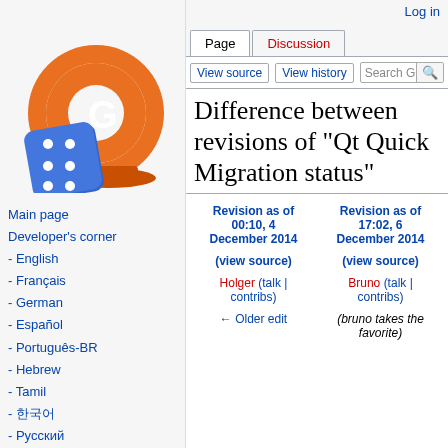Log in
[Figure (logo): GCon logo: orange globe with white G, blue dice]
Main page
Developer's corner
- English
- Français
- German
- Español
- Português-BR
- Hebrew
- Tamil
- 한국어
- Русский
Recent changes
Help
Difference between revisions of "Qt Quick Migration status"
| Revision as of 00:10, 4 December 2014 | Revision as of 17:02, 6 December 2014 |
| --- | --- |
| (view source) | (view source) |
| Holger (talk | contribs) | Bruno (talk | contribs) |
| ← Older edit | (bruno takes the favorite) |